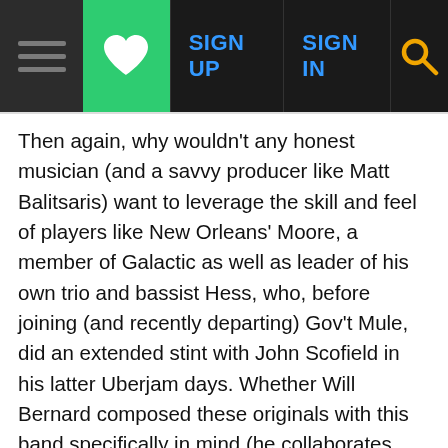Navigation bar with menu, heart/save, SIGN UP, SIGN IN, and search icons
Then again, why wouldn't any honest musician (and a savvy producer like Matt Balitsaris) want to leverage the skill and feel of players like New Orleans' Moore, a member of Galactic as well as leader of his own trio and bassist Hess, who, before joining (and recently departing) Gov't Mule, did an extended stint with John Scofield in his latter Uberjam days. Whether Will Bernard composed these originals with this band specifically in mind (he collaborates with his comrades on the meditative title song), the foursome certainly shapes the songs to their individual personalities.
Equally significantly, in his composing Bernard exhibits all the variety he commands on the guitar, mixing things up in unpredictable combinations. "Magpie," for